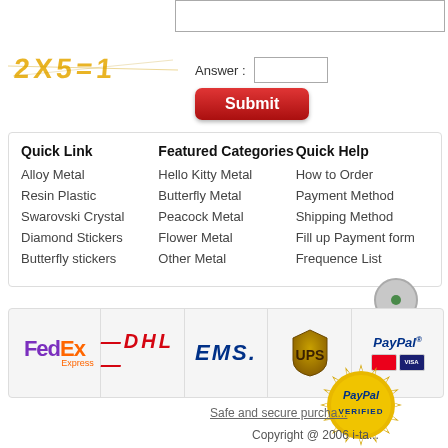[Figure (other): CAPTCHA image showing '2X5=1' in yellow distorted font]
Answer :
Submit
Quick Link
Alloy Metal
Resin Plastic
Swarovski Crystal
Diamond Stickers
Butterfly stickers
Featured Categories
Hello Kitty Metal
Butterfly Metal
Peacock Metal
Flower Metal
Other Metal
Quick Help
How to Order
Payment Method
Shipping Method
Fill up Payment form
Frequence List
[Figure (logo): FedEx Express logo]
[Figure (logo): DHL logo]
[Figure (logo): EMS logo]
[Figure (logo): UPS logo]
[Figure (logo): PayPal with MasterCard and Visa logos]
[Figure (logo): PayPal Verified seal]
Safe and secure purcha...
Copyright @ 2006 i-ta...